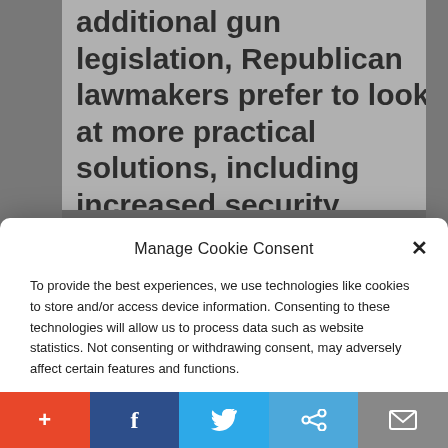additional gun legislation, Republican lawmakers prefer to look at more practical solutions, including increased security measures at schools and other
Manage Cookie Consent
To provide the best experiences, we use technologies like cookies to store and/or access device information. Consenting to these technologies will allow us to process data such as website statistics. Not consenting or withdrawing consent, may adversely affect certain features and functions.
Accept
Cookie Policy  Privacy Policy
[Figure (screenshot): Social sharing bar at the bottom with five buttons: orange + button, dark blue Facebook f button, light blue Twitter bird button, blue chain/share link button, and gray mail envelope button.]